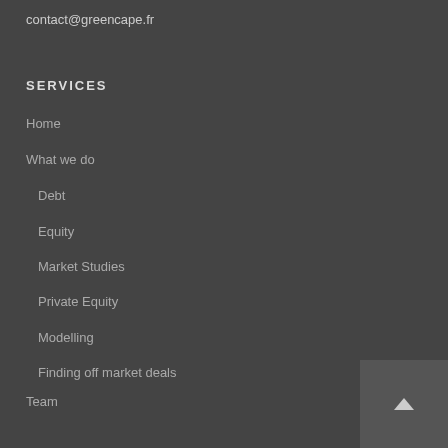contact@greencape.fr
SERVICES
Home
What we do
Debt
Equity
Market Studies
Private Equity
Modelling
Finding off market deals
Team
References
Press